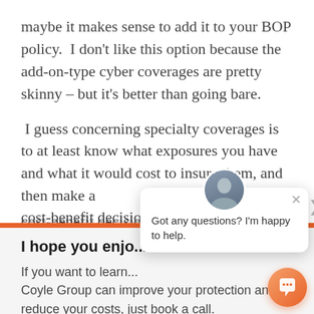maybe it makes sense to add it to your BOP policy.  I don't like this option because the add-on-type cyber coverages are pretty skinny – but it's better than going bare.
I guess concerning specialty coverages is to at least know what exposures you have and what it would cost to insure them, and then make a cost-benefit decision in your min...
I hope you enjo...
If you want to learn... Coyle Group can improve your protection and reduce your costs, just book a call.
[Figure (screenshot): Chat popup overlay with a person avatar, close button, arrow, and message 'Got any questions? I'm happy to help.']